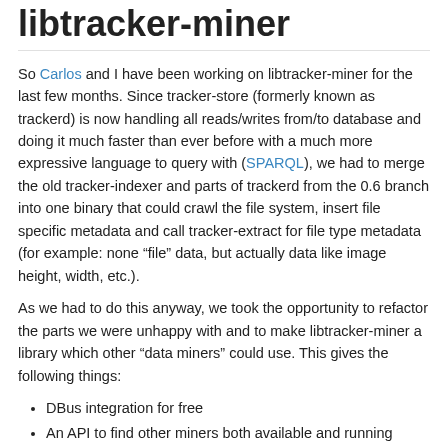libtracker-miner
So Carlos and I have been working on libtracker-miner for the last few months. Since tracker-store (formerly known as trackerd) is now handling all reads/writes from/to database and doing it much faster than ever before with a much more expressive language to query with (SPARQL), we had to merge the old tracker-indexer and parts of trackerd from the 0.6 branch into one binary that could crawl the file system, insert file specific metadata and call tracker-extract for file type metadata (for example: none “file” data, but actually data like image height, width, etc.).
As we had to do this anyway, we took the opportunity to refactor the parts we were unhappy with and to make libtracker-miner a library which other “data miners” could use. This gives the following things:
DBus integration for free
An API to find other miners both available and running
An API to get/set status, progress, name and description for each miner
An API to pause/resume each miner